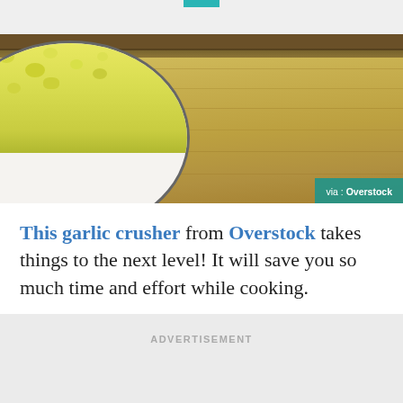[Figure (photo): A bowl of cauliflower rice or similar grated/crushed vegetable on a wooden cutting board, with a teal 'via : Overstock' label in the bottom-right corner.]
This garlic crusher from Overstock takes things to the next level! It will save you so much time and effort while cooking.
ADVERTISEMENT